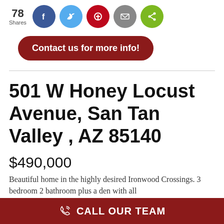[Figure (infographic): Social share bar with count 78 Shares and buttons for Facebook, Twitter, Pinterest, Email, and generic share (green)]
[Figure (infographic): Dark red pill-shaped button reading 'Contact us for more info!']
501 W Honey Locust Avenue, San Tan Valley , AZ 85140
$490,000
Beautiful home in the highly desired Ironwood Crossings. 3 bedroom 2 bathroom plus a den with all
CALL OUR TEAM